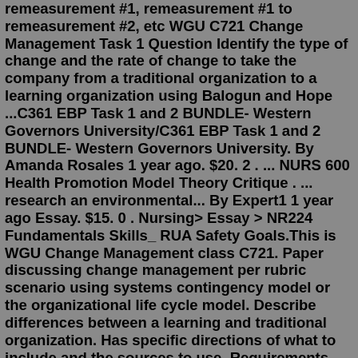remeasurement #1, remeasurement #1 to remeasurement #2, etc WGU C721 Change Management Task 1 Question Identify the type of change and the rate of change to take the company from a traditional organization to a learning organization using Balogun and Hope ...C361 EBP Task 1 and 2 BUNDLE- Western Governors University/C361 EBP Task 1 and 2 BUNDLE- Western Governors University. By Amanda Rosales 1 year ago. $20. 2 . ... NURS 600 Health Promotion Model Theory Critique . ... research an environmental... By Expert1 1 year ago Essay. $15. 0 . Nursing> Essay > NR224 Fundamentals Skills_ RUA Safety Goals.This is WGU Change Management class C721. Paper discussing change management per rubric scenario using systems contingency model or the organizational life cycle model. Describe differences between a learning and traditional organization. Has specific directions of what to include and the sources to use. Requirements are detailed in attached.Consists of an implementation to